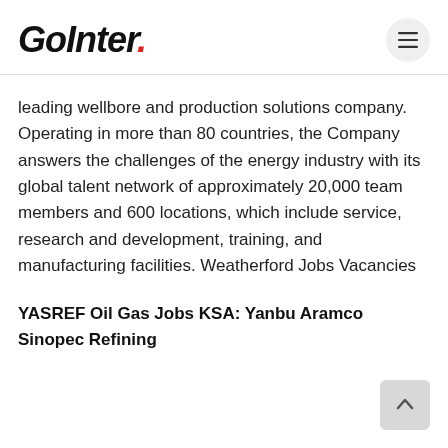GoInter.
leading wellbore and production solutions company. Operating in more than 80 countries, the Company answers the challenges of the energy industry with its global talent network of approximately 20,000 team members and 600 locations, which include service, research and development, training, and manufacturing facilities. Weatherford Jobs Vacancies
YASREF Oil Gas Jobs KSA: Yanbu Aramco Sinopec Refining